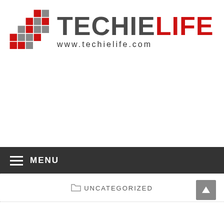[Figure (logo): Techie Life logo with grid icon and www.techielife.com URL]
≡ MENU
⊏ UNCATEGORIZED